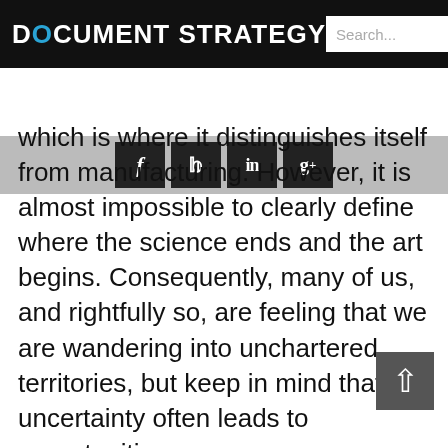DOCUMENT STRATEGY
[Figure (other): Social media sharing buttons: Facebook (f), Twitter (bird), LinkedIn (in), Google+ (g+)]
which is where it distinguishes itself from manufacturing. However, it is almost impossible to clearly define where the science ends and the art begins. Consequently, many of us, and rightfully so, are feeling that we are wandering into unchartered territories, but keep in mind that uncertainty often leads to opportunities.
With commoditization, we move into the world of a global workforce and managed services where corporations can offer 24/7 services with no interruption. There are man...